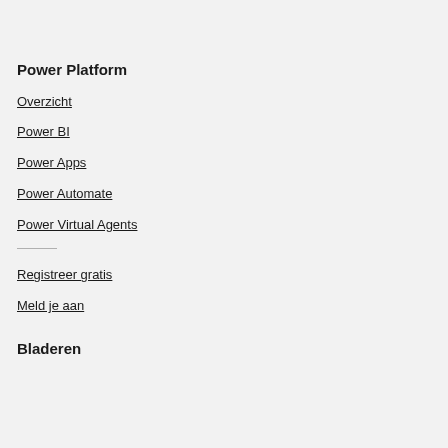Power Platform
Overzicht
Power BI
Power Apps
Power Automate
Power Virtual Agents
Registreer gratis
Meld je aan
Bladeren